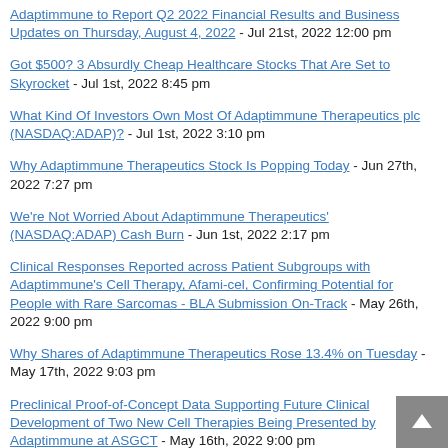Adaptimmune to Report Q2 2022 Financial Results and Business Updates on Thursday, August 4, 2022 - Jul 21st, 2022 12:00 pm
Got $500? 3 Absurdly Cheap Healthcare Stocks That Are Set to Skyrocket - Jul 1st, 2022 8:45 pm
What Kind Of Investors Own Most Of Adaptimmune Therapeutics plc (NASDAQ:ADAP)? - Jul 1st, 2022 3:10 pm
Why Adaptimmune Therapeutics Stock Is Popping Today - Jun 27th, 2022 7:27 pm
We're Not Worried About Adaptimmune Therapeutics' (NASDAQ:ADAP) Cash Burn - Jun 1st, 2022 2:17 pm
Clinical Responses Reported across Patient Subgroups with Adaptimmune's Cell Therapy, Afami-cel, Confirming Potential for People with Rare Sarcomas - BLA Submission On-Track - May 26th, 2022 9:00 pm
Why Shares of Adaptimmune Therapeutics Rose 13.4% on Tuesday - May 17th, 2022 9:03 pm
Preclinical Proof-of-Concept Data Supporting Future Clinical Development of Two New Cell Therapies Being Presented by Adaptimmune at ASGCT - May 16th, 2022 9:00 pm
Adaptimmune Reports First Quarter Financial Results and Business